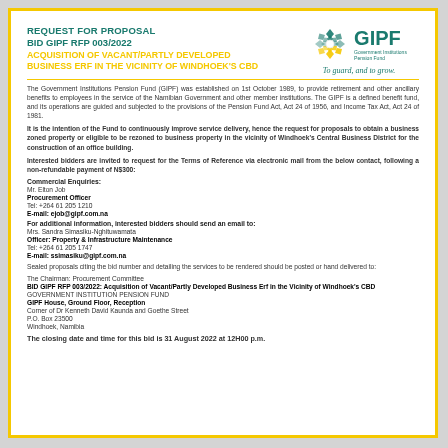REQUEST FOR PROPOSAL
BID GIPF RFP 003/2022
ACQUISITION OF VACANT/PARTLY DEVELOPED BUSINESS ERF IN THE VICINITY OF WINDHOEK'S CBD
[Figure (logo): GIPF Government Institutions Pension Fund logo with geometric diamond pattern and tagline 'To guard, and to grow.']
The Government Institutions Pension Fund (GIPF) was established on 1st October 1989, to provide retirement and other ancillary benefits to employees in the service of the Namibian Government and other member institutions. The GIPF is a defined benefit fund, and its operations are guided and subjected to the provisions of the Pension Fund Act, Act 24 of 1956, and Income Tax Act, Act 24 of 1981.
It is the intention of the Fund to continuously improve service delivery, hence the request for proposals to obtain a business zoned property or eligible to be rezoned to business property in the vicinity of Windhoek's Central Business District for the construction of an office building.
Interested bidders are invited to request for the Terms of Reference via electronic mail from the below contact, following a non-refundable payment of N$300:
Commercial Enquiries:
Mr. Elton Job
Procurement Officer
Tel: +264 61 205 1210
E-mail: ejob@gipf.com.na
For additional information, interested bidders should send an email to:
Mrs. Sandra Simasiku-Nghituwamata
Officer: Property & Infrastructure Maintenance
Tel: +264 61 205 1747
E-mail: ssimasiku@gipf.com.na
Sealed proposals citing the bid number and detailing the services to be rendered should be posted or hand delivered to:
The Chairman: Procurement Committee
BID GIPF RFP 003/2022: Acquisition of Vacant/Partly Developed Business Erf in the Vicinity of Windhoek's CBD
GOVERNMENT INSTITUTION PENSION FUND
GIPF House, Ground Floor, Reception
Corner of Dr Kenneth David Kaunda and Goethe Street
P.O. Box 23500
Windhoek, Namibia
The closing date and time for this bid is 31 August 2022 at 12H00 p.m.